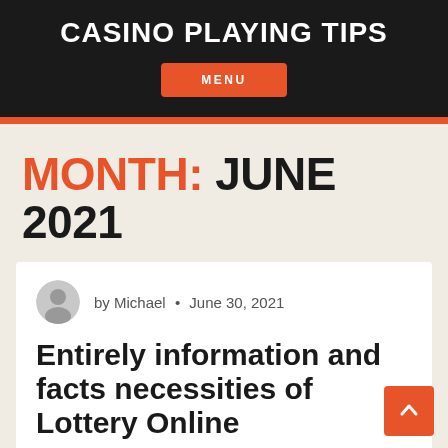CASINO PLAYING TIPS
MENU
MONTH: JUNE 2021
by Michael • June 30, 2021
Entirely information and facts necessities of Lottery Online